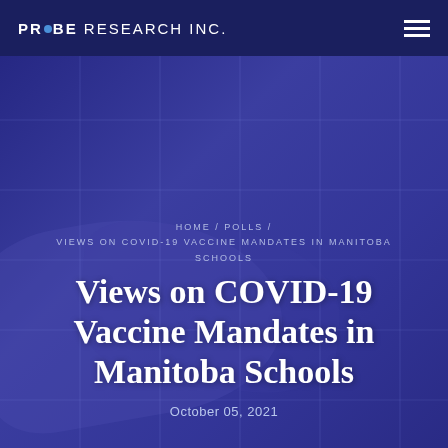PROBE RESEARCH INC.
HOME / POLLS / VIEWS ON COVID-19 VACCINE MANDATES IN MANITOBA SCHOOLS
Views on COVID-19 Vaccine Mandates in Manitoba Schools
October 05, 2021